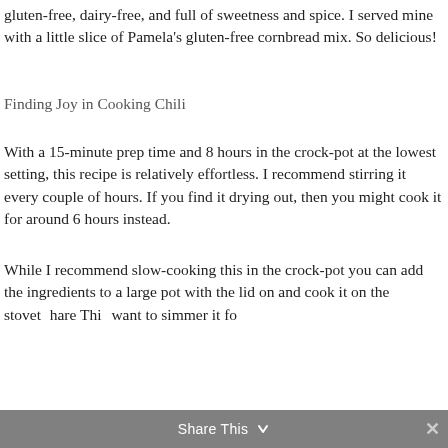gluten-free, dairy-free, and full of sweetness and spice. I served mine with a little slice of Pamela's gluten-free cornbread mix. So delicious!
Finding Joy in Cooking Chili
With a 15-minute prep time and 8 hours in the crock-pot at the lowest setting, this recipe is relatively effortless. I recommend stirring it every couple of hours. If you find it drying out, then you might cook it for around 6 hours instead.
While I recommend slow-cooking this in the crock-pot you can add the ingredients to a large pot with the lid on and cook it on the stovetop. Want to simmer it fo
Share This